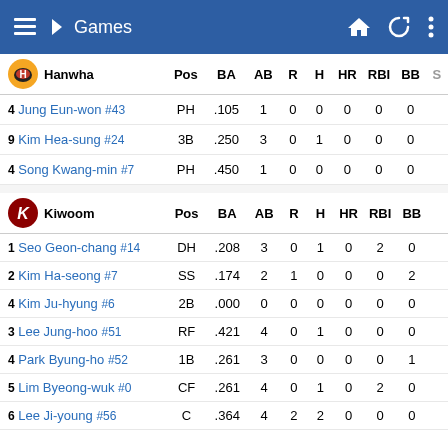Games
|  | Hanwha | Pos | BA | AB | R | H | HR | RBI | BB | S |
| --- | --- | --- | --- | --- | --- | --- | --- | --- | --- | --- |
| 4 | Jung Eun-won #43 | PH | .105 | 1 | 0 | 0 | 0 | 0 | 0 |  |
| 9 | Kim Hea-sung #24 | 3B | .250 | 3 | 0 | 1 | 0 | 0 | 0 |  |
| 4 | Song Kwang-min #7 | PH | .450 | 1 | 0 | 0 | 0 | 0 | 0 |  |
|  | Kiwoom | Pos | BA | AB | R | H | HR | RBI | BB |
| --- | --- | --- | --- | --- | --- | --- | --- | --- | --- |
| 1 | Seo Geon-chang #14 | DH | .208 | 3 | 0 | 1 | 0 | 2 | 0 |
| 2 | Kim Ha-seong #7 | SS | .174 | 2 | 1 | 0 | 0 | 0 | 2 |
| 4 | Kim Ju-hyung #6 | 2B | .000 | 0 | 0 | 0 | 0 | 0 | 0 |
| 3 | Lee Jung-hoo #51 | RF | .421 | 4 | 0 | 1 | 0 | 0 | 0 |
| 4 | Park Byung-ho #52 | 1B | .261 | 3 | 0 | 0 | 0 | 0 | 1 |
| 5 | Lim Byeong-wuk #0 | CF | .261 | 4 | 0 | 1 | 0 | 2 | 0 |
| 6 | Lee Ji-young #56 | C | .364 | 4 | 2 | 2 | 0 | 0 | 0 |